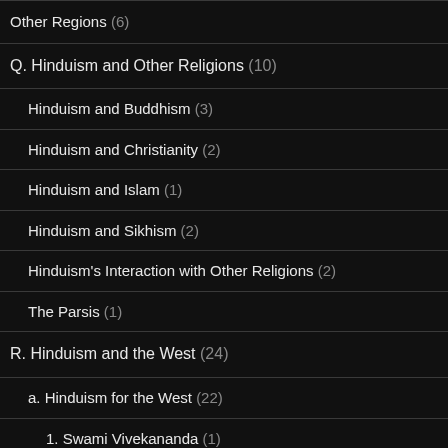Other Regions (6)
Q. Hinduism and Other Religions (10)
Hinduism and Buddhism (3)
Hinduism and Christianity (2)
Hinduism and Islam (1)
Hinduism and Sikhism (2)
Hinduism's Interaction with Other Religions (2)
The Parsis (1)
R. Hinduism and the West (24)
a. Hinduism for the West (22)
1. Swami Vivekananda (1)
2. Maharishi Mahesh Yogi and Transcendental Meditation (3)